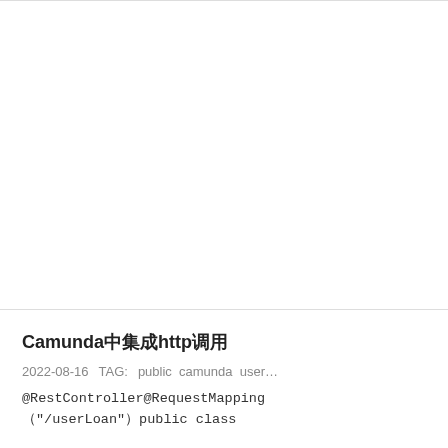[Figure (other): Blank white area at top of page, bordered top and bottom by thin gray lines.]
Camunda中集成http调用
2022-08-16   TAG:  public  camunda  user…
@RestController@RequestMapping
（"/userLoan"）public class